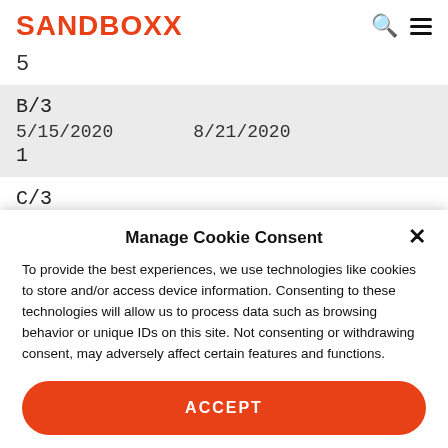SANDBOXX
5
| B/3 | 5/15/2020 | 8/21/2020 |
| 1 |  |  |
C/3
Manage Cookie Consent
To provide the best experiences, we use technologies like cookies to store and/or access device information. Consenting to these technologies will allow us to process data such as browsing behavior or unique IDs on this site. Not consenting or withdrawing consent, may adversely affect certain features and functions.
ACCEPT
Opt-out preferences   Privacy Policy